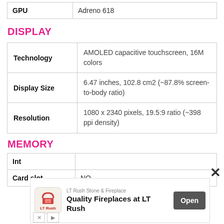|  |  |
| --- | --- |
| GPU | Adreno 618 |
DISPLAY
|  |  |
| --- | --- |
| Technology | AMOLED capacitive touchscreen, 16M colors |
| Display Size | 6.47 inches, 102.8 cm2 (~87.8% screen-to-body ratio) |
| Resolution | 1080 x 2340 pixels, 19.5:9 ratio (~398 ppi density) |
MEMORY
|  |  |
| --- | --- |
| Internal |  |
| Card slot | NO |
[Figure (infographic): Advertisement overlay: LT Rush Stone & Fireplace - Quality Fireplaces at LT Rush, with Open button]